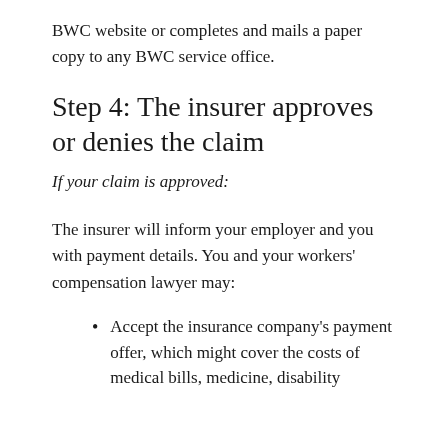BWC website or completes and mails a paper copy to any BWC service office.
Step 4: The insurer approves or denies the claim
If your claim is approved:
The insurer will inform your employer and you with payment details. You and your workers' compensation lawyer may:
Accept the insurance company's payment offer, which might cover the costs of medical bills, medicine, disability